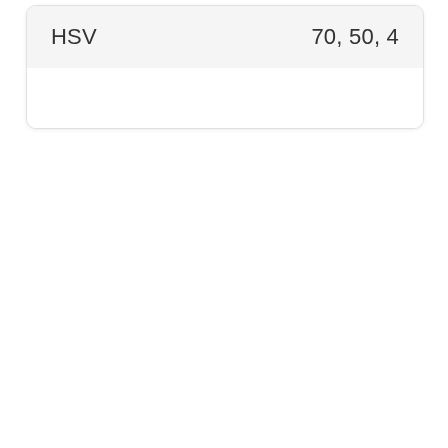|  |  |
| --- | --- |
| HSV | 70, 50, 4 |